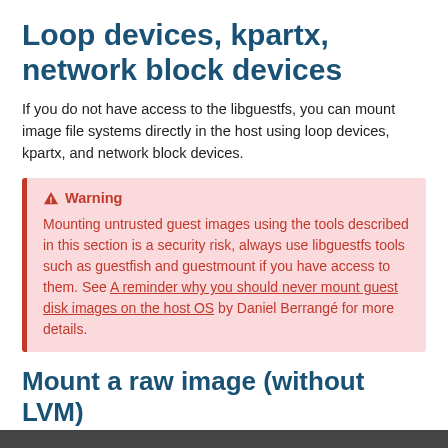Loop devices, kpartx, network block devices
If you do not have access to the libguestfs, you can mount image file systems directly in the host using loop devices, kpartx, and network block devices.
Warning
Mounting untrusted guest images using the tools described in this section is a security risk, always use libguestfs tools such as guestfish and guestmount if you have access to them. See A reminder why you should never mount guest disk images on the host OS by Daniel Berrangé for more details.
Mount a raw image (without LVM)
If you have a raw virtual machine image that is not using LVM to manage its partitions, use the losetup command to find an unused loop device.